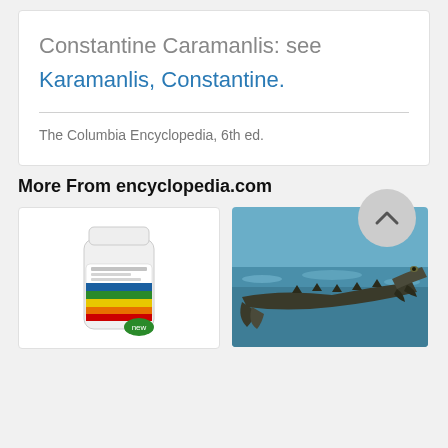Constantine Caramanlis: see Karamanlis, Constantine.
The Columbia Encyclopedia, 6th ed.
More From encyclopedia.com
[Figure (photo): Supplement bottle product photo]
[Figure (photo): Crocodile in water photo]